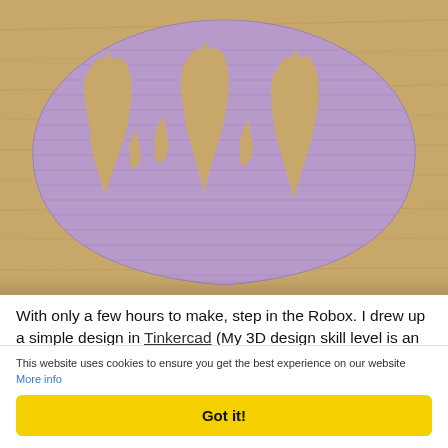[Figure (photo): A purple 3D-printed object shaped like a guitar pick or teardrop, with cutout silhouettes of cats and flames, lying on a wooden surface.]
With only a few hours to make, step in the Robox. I drew up a simple design in Tinkercad (My 3D design skill level is an impressive minus number) and within about 5 minutes had
This website uses cookies to ensure you get the best experience on our website More info
Got it!